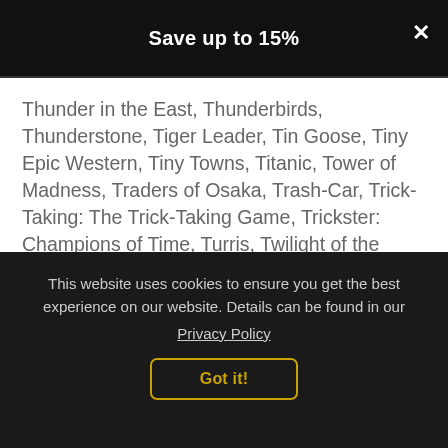Save up to 15%
Thunder in the East, Thunderbirds, Thunderstone, Tiger Leader, Tin Goose, Tiny Epic Western, Tiny Towns, Titanic, Tower of Madness, Traders of Osaka, Trash-Car, Trick-Taking: The Trick-Taking Game, Trickster: Champions of Time, Turris, Twilight of the Gods, Twilight Struggle, Tyrant of the Underdusk,
- Ultimate Werewolf Legacy, Unbroken, Unearth, Unfair, Unicornus Knights, Unmatched: Battle of Legends, Unpub: The Unpublished Card Game, Unstable Unicorns, Until Daylight, Untold: Adventures Await,
This website uses cookies to ensure you get the best experience on our website. Details can be found in our
Privacy Policy
Got it!